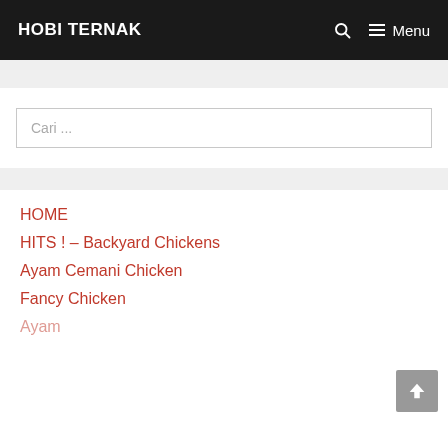HOBI TERNAK
Cari ...
HOME
HITS ! – Backyard Chickens
Ayam Cemani Chicken
Fancy Chicken